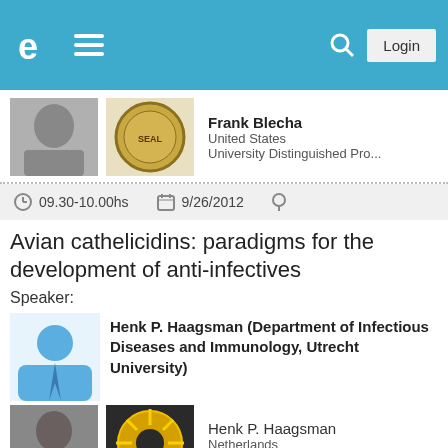[Figure (screenshot): Website navigation bar with logo, hamburger menu, search icon, and Login button on blue background]
[Figure (photo): Photo of Frank Blecha and a university seal badge]
Frank Blecha
United States
University Distinguished Pro...
09.30-10.00hs   9/26/2012
Avian cathelicidins: paradigms for the development of anti-infectives
Speaker:
Henk P. Haagsman (Department of Infectious Diseases and Immunology, Utrecht University)
[Figure (photo): Photo of Henk P. Haagsman and a research institution seal]
Henk P. Haagsman
Netherlands
Research
10.00-10.30hs   9/26/2012
Animal-derived Antimicrobial Peptides and Swine